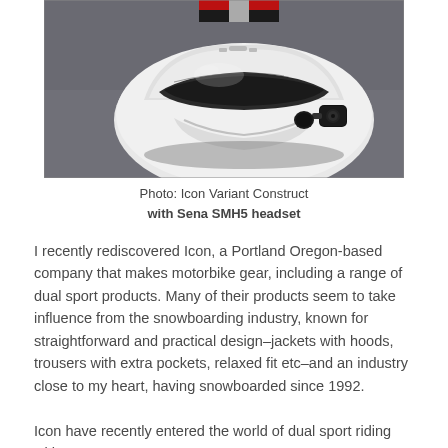[Figure (photo): Close-up photo of a white motorcycle helmet with a black Sena SMH5 Bluetooth headset mounted on the side. A red and black shoe or glove is partially visible at the top of the frame. The background is a dark gray surface.]
Photo: Icon Variant Construct with Sena SMH5 headset
I recently rediscovered Icon, a Portland Oregon-based company that makes motorbike gear, including a range of dual sport products. Many of their products seem to take influence from the snowboarding industry, known for straightforward and practical design–jackets with hoods, trousers with extra pockets, relaxed fit etc–and an industry close to my heart, having snowboarded since 1992.
Icon have recently entered the world of dual sport riding with a